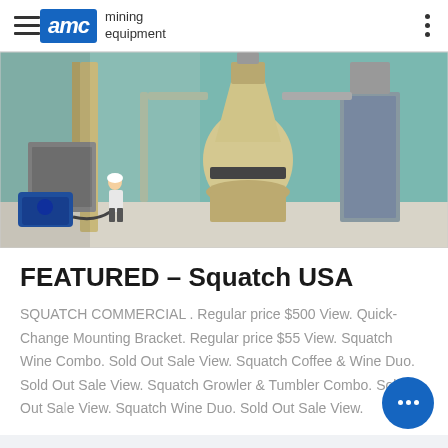AMC mining equipment
[Figure (photo): Industrial mining mill equipment inside a large warehouse/factory building. A large cream-colored grinding mill is the central piece of equipment. A worker in a white hard hat stands to the left. A blue air compressor is visible in the foreground left. Metal structures, conveyors and dust collectors are visible in the background with a teal/blue corrugated metal wall.]
FEATURED – Squatch USA
SQUATCH COMMERCIAL . Regular price $500 View. Quick-Change Mounting Bracket. Regular price $55 View. Squatch Wine Combo. Sold Out Sale View. Squatch Coffee & Wine Duo. Sold Out Sale View. Squatch Growler & Tumbler Combo. Sold Out Sale View. Squatch Wine Duo. Sold Out Sale View.